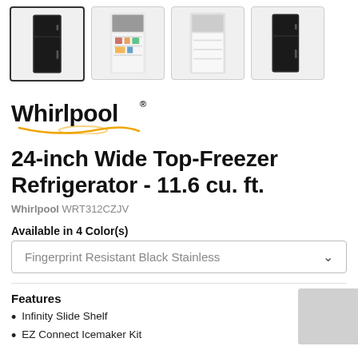[Figure (photo): Four thumbnail images of a Whirlpool top-freezer refrigerator in black stainless: front closed, interior with food, interior empty shelves, and side/front view. First thumbnail is selected with a bold border.]
[Figure (logo): Whirlpool brand logo with gold/yellow swirl underline and registered trademark symbol]
24-inch Wide Top-Freezer Refrigerator - 11.6 cu. ft.
Whirlpool WRT312CZJV
Available in 4 Color(s)
Fingerprint Resistant Black Stainless
Features
Infinity Slide Shelf
EZ Connect Icemaker Kit